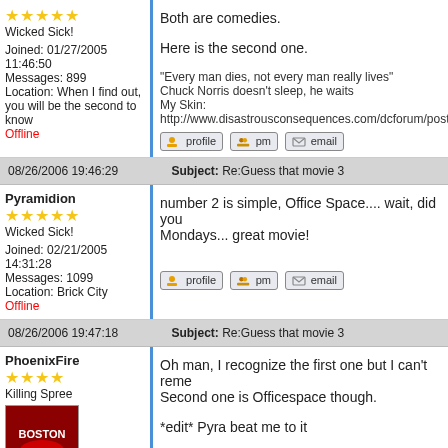Wicked Sick!
Joined: 01/27/2005 11:46:50
Messages: 899
Location: When I find out, you will be the second to know
Offline
Both are comedies.

Here is the second one.

"Every man dies, not every man really lives"
Chuck Norris doesn't sleep, he waits
My Skin:
http://www.disastrousconsequences.com/dcforum/posts/lis
08/26/2006 19:46:29  Subject: Re:Guess that movie 3
Pyramidion
Wicked Sick!
Joined: 02/21/2005 14:31:28
Messages: 1099
Location: Brick City
Offline
number 2 is simple, Office Space.... wait, did you Mondays... great movie!
08/26/2006 19:47:18  Subject: Re:Guess that movie 3
PhoenixFire
Killing Spree
Oh man, I recognize the first one but I can't reme Second one is Officespace though.

*edit* Pyra beat me to it